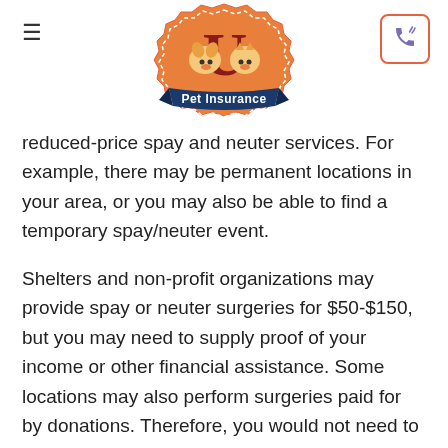Pet Insurance U logo and navigation header
reduced-price spay and neuter services. For example, there may be permanent locations in your area, or you may also be able to find a temporary spay/neuter event.
Shelters and non-profit organizations may provide spay or neuter surgeries for $50-$150, but you may need to supply proof of your income or other financial assistance. Some locations may also perform surgeries paid for by donations. Therefore, you would not need to pay anything.
Mobile clinics are those that have spay/neuter events for a limited time (usually a weekend), before they move to another location. Depending on the organization, they may charge between $50-$100.